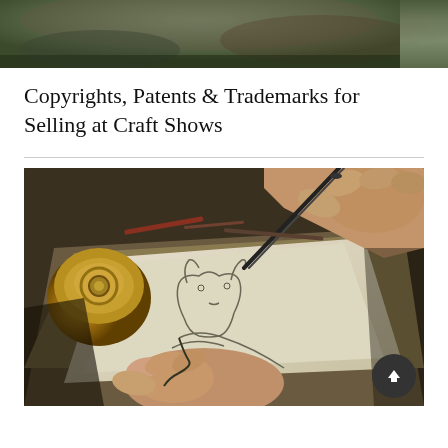[Figure (photo): Close-up photo of aged hands working on a craft, partially visible at top of page, dark and muted tones with green background]
Copyrights, Patents & Trademarks for Selling at Craft Shows
[Figure (photo): Close-up photo of hands using tweezers/tools to work on a wire craft design on paper, with a brass/gold object visible on the left, dark moody tones]